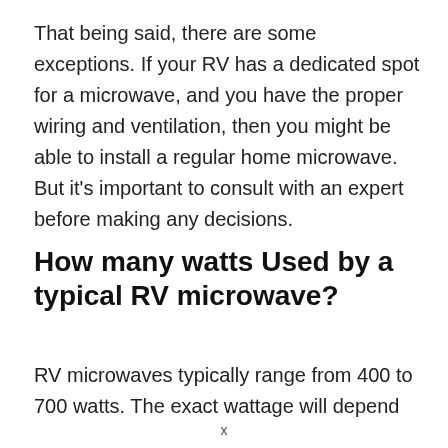That being said, there are some exceptions. If your RV has a dedicated spot for a microwave, and you have the proper wiring and ventilation, then you might be able to install a regular home microwave. But it's important to consult with an expert before making any decisions.
How many watts Used by a typical RV microwave?
RV microwaves typically range from 400 to 700 watts. The exact wattage will depend on the size and
x